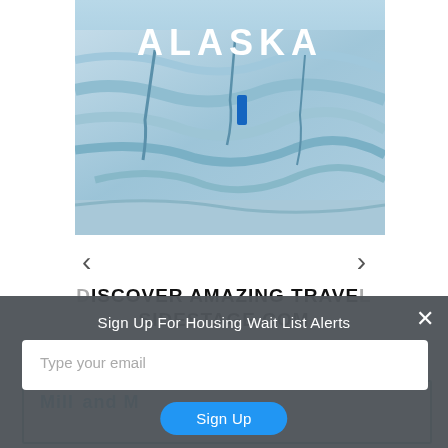[Figure (photo): Glacier photo with 'ALASKA' text overlay in white capital letters, navigation arrows on left and right]
DISCOVER AMAZING TRAVEL SIDESTAGE.COM
Mill... and M... (partially visible teal box content)
Sign Up For Housing Wait List Alerts
Type your email
Sign Up